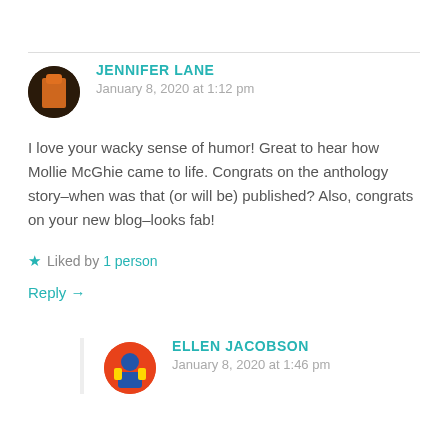JENNIFER LANE
January 8, 2020 at 1:12 pm
I love your wacky sense of humor! Great to hear how Mollie McGhie came to life. Congrats on the anthology story–when was that (or will be) published? Also, congrats on your new blog–looks fab!
Liked by 1 person
Reply →
ELLEN JACOBSON
January 8, 2020 at 1:46 pm